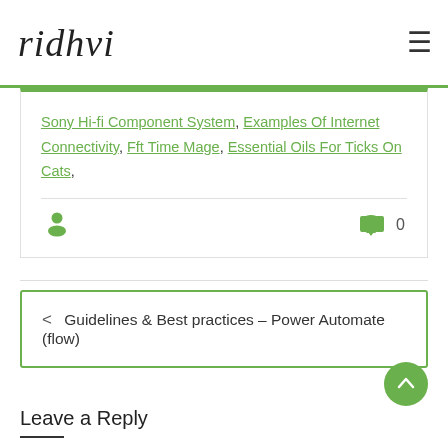ridhvi
Sony Hi-fi Component System, Examples Of Internet Connectivity, Fft Time Mage, Essential Oils For Ticks On Cats,
0
< Guidelines & Best practices – Power Automate (flow)
Leave a Reply